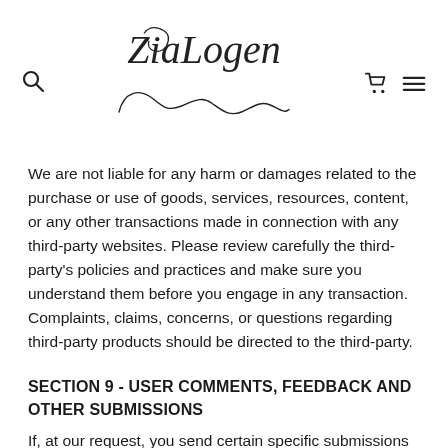ZiaLogen
We are not liable for any harm or damages related to the purchase or use of goods, services, resources, content, or any other transactions made in connection with any third-party websites. Please review carefully the third-party's policies and practices and make sure you understand them before you engage in any transaction. Complaints, claims, concerns, or questions regarding third-party products should be directed to the third-party.
SECTION 9 - USER COMMENTS, FEEDBACK AND OTHER SUBMISSIONS
If, at our request, you send certain specific submissions (for example contest entries) or without a request from us you send creative ideas, suggestions, proposals, plans, or other materials, whether online, by email, by postal mail, or otherwise